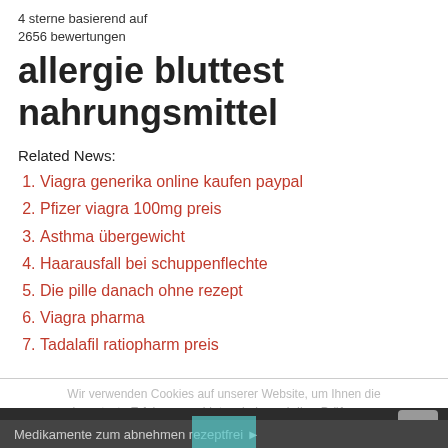4 sterne basierend auf
2656 bewertungen
allergie bluttest nahrungsmittel
Related News:
Viagra generika online kaufen paypal
Pfizer viagra 100mg preis
Asthma übergewicht
Haarausfall bei schuppenflechte
Die pille danach ohne rezept
Viagra pharma
Tadalafil ratiopharm preis
Wir verwenden Cookies auf unserer Website, um Ihnen die relevanteste Erfahrung zu bieten, indem wir Ihre Präferenzen speichern und Besuche wiederholen. Indem Sie auf 'Akzeptieren' klicken, stimmen Sie der Verwendung ALLER Cookies zu.
◄ Migräne tabletten
Medikamente zum abnehmen rezeptfrei ►